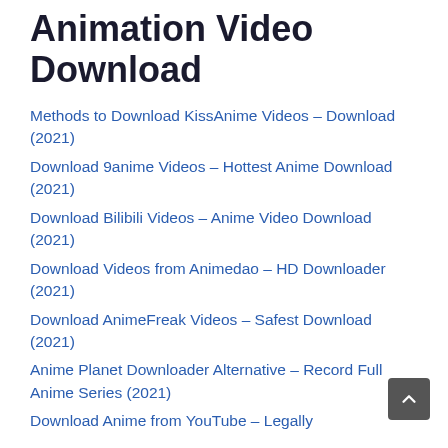Animation Video Download
Methods to Download KissAnime Videos – Download (2021)
Download 9anime Videos – Hottest Anime Download (2021)
Download Bilibili Videos – Anime Video Download (2021)
Download Videos from Animedao – HD Downloader (2021)
Download AnimeFreak Videos – Safest Download (2021)
Anime Planet Downloader Alternative – Record Full Anime Series (2021)
Download Anime from YouTube – Legally